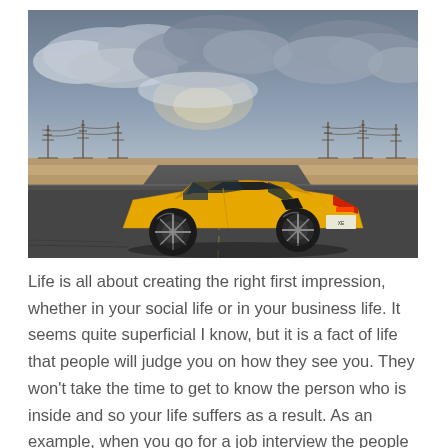[Figure (photo): A yellow Lamborghini Huracán sports car driving on a straight desert road at dusk, with electrical transmission towers visible on the horizon and a dramatic cloudy sky above.]
Life is all about creating the right first impression, whether in your social life or in your business life. It seems quite superficial I know, but it is a fact of life that people will judge you on how they see you. They won't take the time to get to know the person who is inside and so your life suffers as a result. As an example, when you go for a job interview the people in the room will judge you within the first 10 seconds of